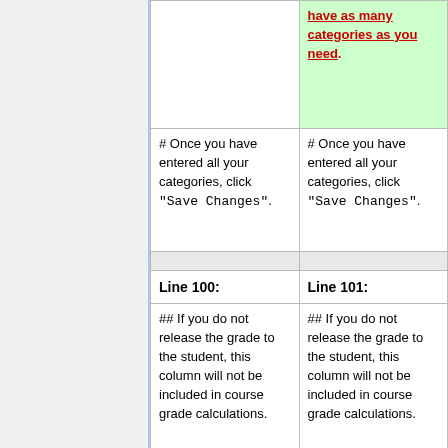| Line 100: | Line 101: |
| --- | --- |
| # Once you have entered all your categories, click '"Save Changes"'. | # Once you have entered all your categories, click '"Save Changes"'. |
| (separator) | (separator) |
| Line 100: | Line 101: |
| ## If you do not release the grade to the student, this column will not be included in course grade calculations. | ## If you do not release the grade to the student, this column will not be included in course grade calculations. |
| # If you want to add more Gradebook Items, click '"Add Another Gradebook Item"' and another set of boxes will appear so that you can continue to enter | # If you want to add more Gradebook Items, click '"Add Another Gradebook Item"' and another set of boxes will appear so that you can continue to enter |